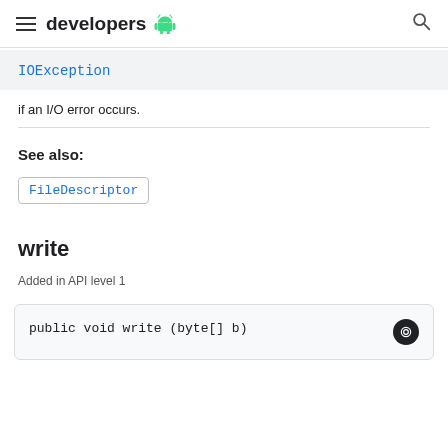developers
IOException
if an I/O error occurs.
See also:
FileDescriptor
write
Added in API level 1
public void write (byte[] b)